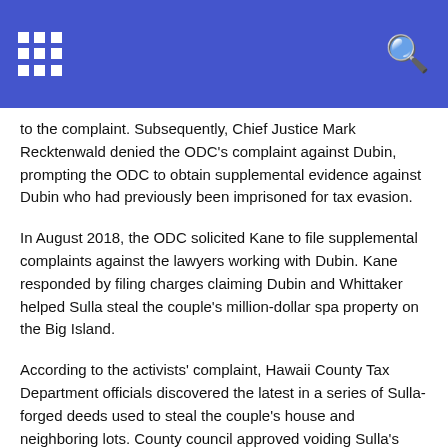[Navigation bar with grid icon and search icon]
to the complaint. Subsequently, Chief Justice Mark Recktenwald denied the ODC’s complaint against Dubin, prompting the ODC to obtain supplemental evidence against Dubin who had previously been imprisoned for tax evasion.
In August 2018, the ODC solicited Kane to file supplemental complaints against the lawyers working with Dubin. Kane responded by filing charges claiming Dubin and Whittaker helped Sulla steal the couple’s million-dollar spa property on the Big Island.
According to the activists’ complaint, Hawaii County Tax Department officials discovered the latest in a series of Sulla-forged deeds used to steal the couple’s house and neighboring lots. County council approved voiding Sulla’s manufactured warranty deed, leaving the ejected couple with the only valid title to the property Sulla currently possesses.
Sulla and his agent, Marc Shackman, who was reprimanded by the U.S. Drug Enforcement Agency (“DEA”) in 2016 for illegally trafficking the Class I narcotic hallucinogen “DMT,” currently occupies the spa and advertises it